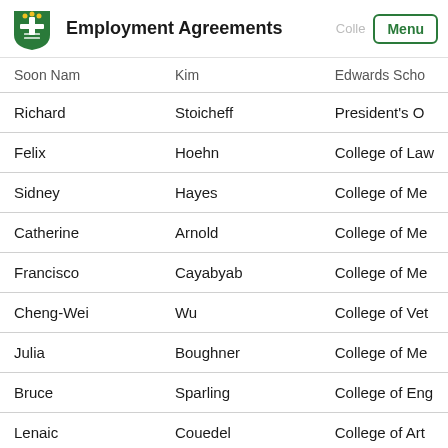Employment Agreements
| First Name | Last Name | College |
| --- | --- | --- |
| Soon Nam | Kim | Edwards Scho |
| Richard | Stoicheff | President's O |
| Felix | Hoehn | College of Law |
| Sidney | Hayes | College of Me |
| Catherine | Arnold | College of Me |
| Francisco | Cayabyab | College of Me |
| Cheng-Wei | Wu | College of Vet |
| Julia | Boughner | College of Me |
| Bruce | Sparling | College of Eng |
| Lenaic | Couedel | College of Art |